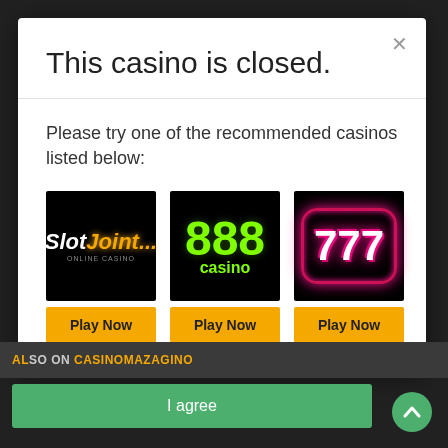This casino is closed.
Please try one of the recommended casinos listed below:
[Figure (logo): SlotJoint online casino logo - black background with orange/white italic text]
[Figure (logo): 888 casino logo - black background with bright green 888 and 'casino' text]
[Figure (logo): 777 casino logo - black background with neon pink/red 777 badge]
Play Now
Play Now
Play Now
I agree